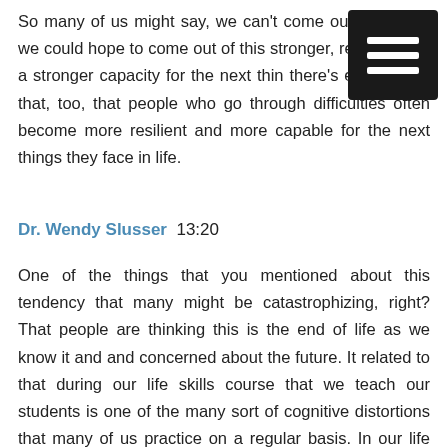So many of us might say, we can't come out of this, or we could hope to come out of this stronger, resilient with a stronger capacity for the next thin there's evidence of that, too, that people who go through difficulties often become more resilient and more capable for the next things they face in life.
Dr. Wendy Slusser  13:20
One of the things that you mentioned about this tendency that many might be catastrophizing, right? That people are thinking this is the end of life as we know it and and concerned about the future. It related to that during our life skills course that we teach our students is one of the many sort of cognitive distortions that many of us practice on a regular basis. In our life skills course, we have weekly logs where